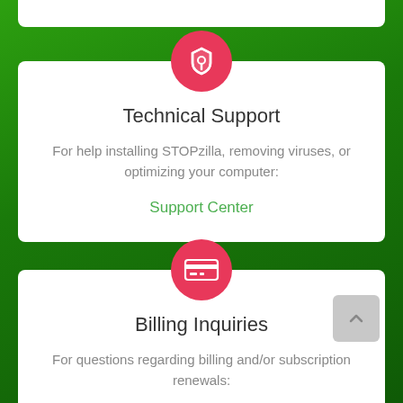Technical Support
For help installing STOPzilla, removing viruses, or optimizing your computer:
Support Center
Billing Inquiries
For questions regarding billing and/or subscription renewals:
Support Center